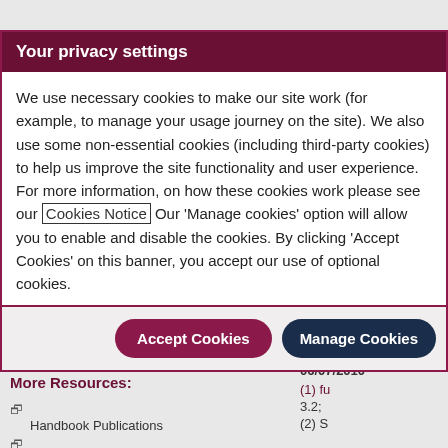Your privacy settings
We use necessary cookies to make our site work (for example, to manage your usage journey on the site). We also use some non-essential cookies (including third-party cookies) to help us improve the site functionality and user experience. For more information, on how these cookies work please see our Cookies Notice Our 'Manage cookies' option will allow you to enable and disable the cookies. By clicking 'Accept Cookies' on this banner, you accept our use of optional cookies.
Accept Cookies
Manage Cookies